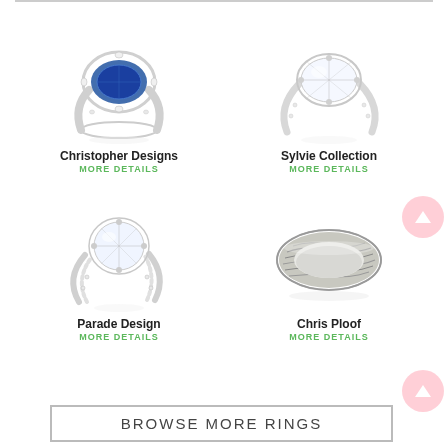[Figure (photo): Christopher Designs engagement ring with blue sapphire center stone and diamond halo on white gold band]
Christopher Designs
MORE DETAILS
[Figure (photo): Sylvie Collection engagement ring with large oval diamond center stone on diamond-accented white gold band]
Sylvie Collection
MORE DETAILS
[Figure (photo): Parade Design engagement ring with round diamond center stone on twisted diamond-accented white gold band]
Parade Design
MORE DETAILS
[Figure (photo): Chris Ploof mokume-gane style men's wedding band with wood grain pattern in silver/gray tones]
Chris Ploof
MORE DETAILS
BROWSE MORE RINGS